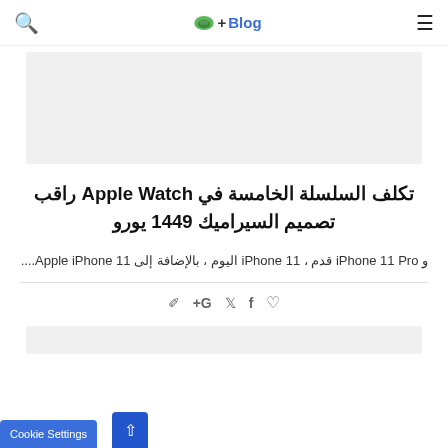☰  Blog+ 🌐  🔍
[Figure (other): Gray advertisement placeholder rectangle]
تكلف السلسلة الخامسة في Apple Watch راقب تصميم السيراميك 1449 يورو
و iPhone 11 Pro قدم ، iPhone 11 اليوم ، بالإضافة إلى Apple iPhone 11....